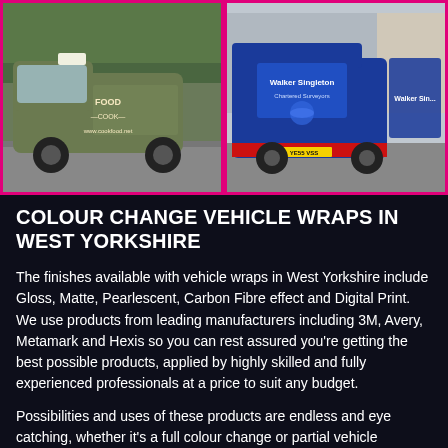[Figure (photo): Photo of an olive/khaki coloured van with COOK food branding and www.cookfood.net printed on the side]
[Figure (photo): Photo of a blue van with Walker Singleton branding on the rear and side]
COLOUR CHANGE VEHICLE WRAPS IN WEST YORKSHIRE
The finishes available with vehicle wraps in West Yorkshire include Gloss, Matte, Pearlescent, Carbon Fibre effect and Digital Print. We use products from leading manufacturers including 3M, Avery, Metamark and Hexis so you can rest assured you’re getting the best possible products, applied by highly skilled and fully experienced professionals at a price to suit any budget.
Possibilities and uses of these products are endless and eye catching, whether it’s a full colour change or partial vehicle